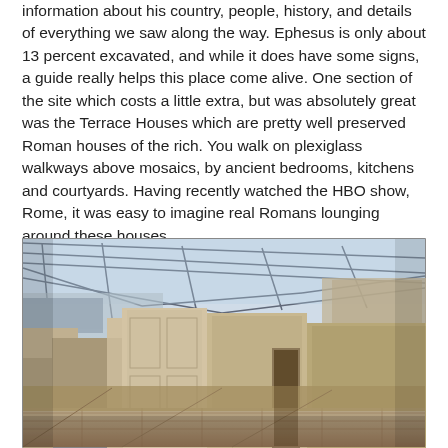information about his country, people, history, and details of everything we saw along the way. Ephesus is only about 13 percent excavated, and while it does have some signs, a guide really helps this place come alive. One section of the site which costs a little extra, but was absolutely great was the Terrace Houses which are pretty well preserved Roman houses of the rich. You walk on plexiglass walkways above mosaics, by ancient bedrooms, kitchens and courtyards. Having recently watched the HBO show, Rome, it was easy to imagine real Romans lounging around these houses.
[Figure (photo): Interior view of the Terrace Houses at Ephesus, showing ancient Roman ruins with stone walls, floors, and architectural details under a large modern protective steel and glass roof structure.]